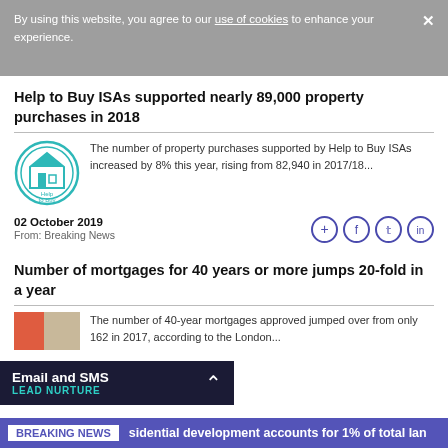By using this website, you agree to our use of cookies to enhance your experience.
Help to Buy ISAs supported nearly 89,000 property purchases in 2018
[Figure (logo): Help to Buy circular logo with house icon]
The number of property purchases supported by Help to Buy ISAs increased by 8% this year, rising from 82,940 in 2017/18...
02 October 2019
From: Breaking News
[Figure (other): Social sharing icons: add, facebook, twitter, linkedin]
Number of mortgages for 40 years or more jumps 20-fold in a year
The number of 40-year mortgages approved jumped over from only 162 in 2017, according to the London...
Email and SMS
LEAD NURTURE
BREAKING NEWS  sidential development accounts for 1% of total lan